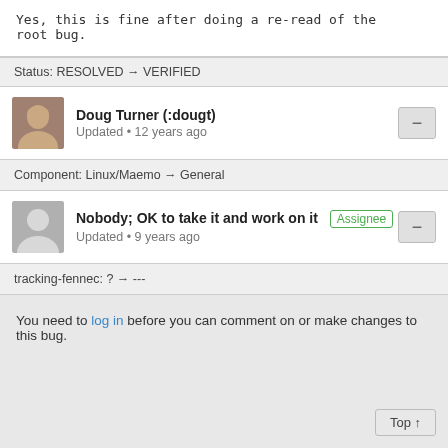Yes, this is fine after doing a re-read of the root bug.
Status: RESOLVED → VERIFIED
Doug Turner (:dougt) Updated • 12 years ago
Component: Linux/Maemo → General
Nobody; OK to take it and work on it [Assignee] Updated • 9 years ago
tracking-fennec: ? → ---
You need to log in before you can comment on or make changes to this bug.